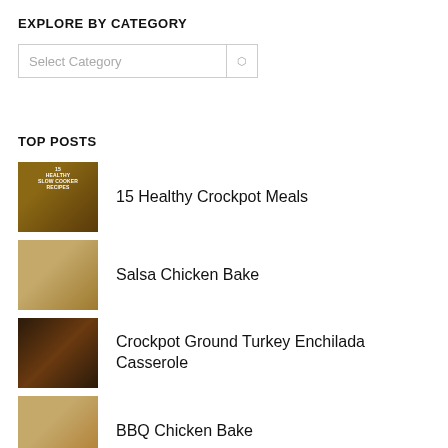EXPLORE BY CATEGORY
Select Category
TOP POSTS
15 Healthy Crockpot Meals
Salsa Chicken Bake
Crockpot Ground Turkey Enchilada Casserole
BBQ Chicken Bake
Chicken, Zucchini, and Potato Bake